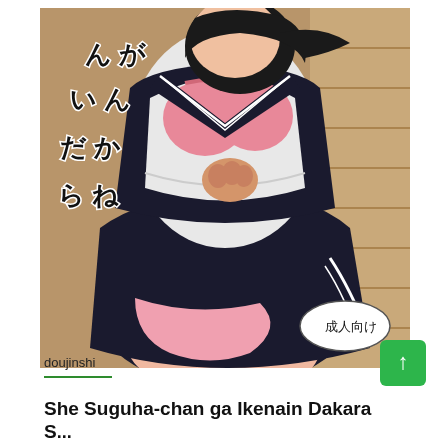[Figure (illustration): Anime-style illustration of a female character in a black sailor school uniform, lifting her top to reveal a pink bra/lingerie, with Japanese text overlaid reading partial characters. A speech bubble in the lower right reads 成人向け (for adults). Background appears to be a wooden interior.]
doujinshi
She Suguha-chan ga Ikenain Dakara S...